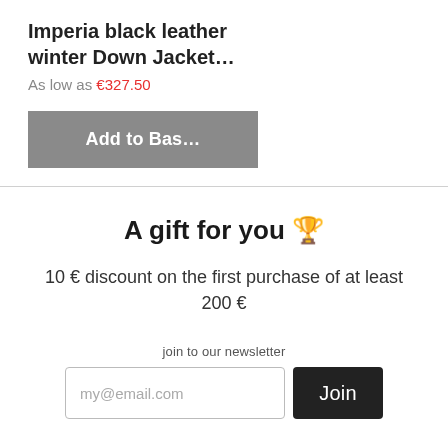Imperia black leather winter Down Jacket…
As low as €327.50
[Figure (other): Add to Bas… button (grey rectangular button)]
A gift for you 🎁
10 € discount on the first purchase of at least 200 €
join to our newsletter
[Figure (other): Email input field with placeholder my@email.com and Join button]